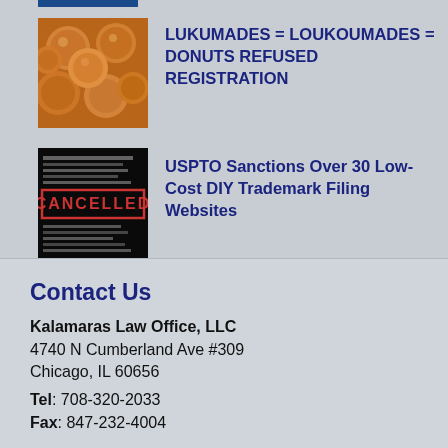[Figure (photo): Partial top blue image strip (cropped)]
[Figure (photo): Thumbnail of golden-brown donuts/loukoumades]
LUKUMADES = LOUKOUMADES = DONUTS REFUSED REGISTRATION
[Figure (photo): Thumbnail of cancelled stamp text image]
USPTO Sanctions Over 30 Low-Cost DIY Trademark Filing Websites
Contact Us
Kalamaras Law Office, LLC
4740 N Cumberland Ave #309
Chicago, IL 60656
Tel: 708-320-2033
Fax: 847-232-4004